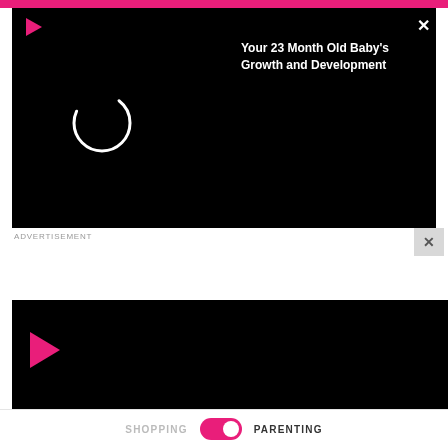[Figure (screenshot): Video player with black background, red play button icon, white loading circle, and bold white title text reading 'Your 23 Month Old Baby's Growth and Development'. Close (X) button top right.]
ADVERTISEMENT
[Figure (screenshot): Second video player with black background, larger red play button icon, and white loading circle. Close (X) button above top-right corner.]
ADVERTISEMENT
SHOPPING  PARENTING